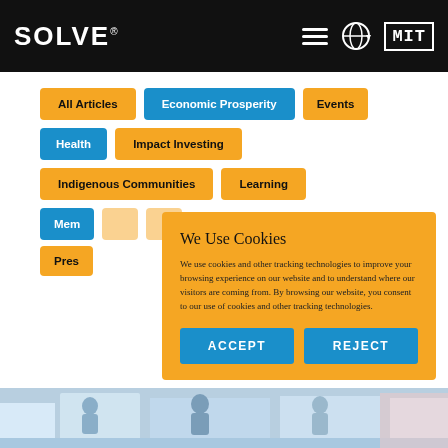SOLVE® | MIT navigation bar with hamburger menu, globe icon, and MIT logo
All Articles
Economic Prosperity
Events
Health
Impact Investing
Indigenous Communities
Learning
Mem[bers] (partially visible)
Pres[s] (partially visible)
We Use Cookies
We use cookies and other tracking technologies to improve your browsing experience on our website and to understand where our visitors are coming from. By browsing our website, you consent to our use of cookies and other tracking technologies.
ACCEPT
REJECT